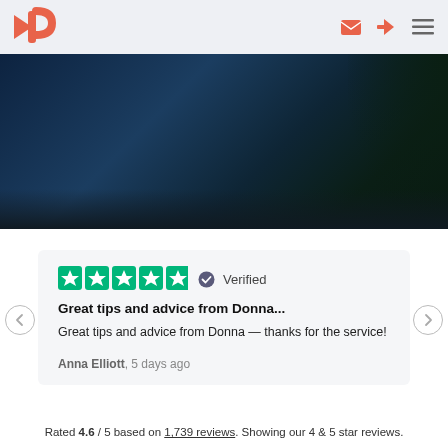[Figure (logo): Pointerpro logo — stylized orange/coral arrow and P shape]
[Figure (photo): Dark blue/teal blurred hero background image with foliage visible at right]
[Figure (other): Trustpilot 5-star review card with verified badge. Title: Great tips and advice from Donna... Body: Great tips and advice from Donna — thanks for the service! Author: Anna Elliott, 5 days ago]
Rated 4.6 / 5 based on 1,739 reviews. Showing our 4 & 5 star reviews.